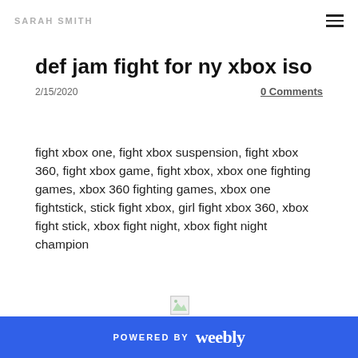SARAH SMITH
def jam fight for ny xbox iso
2/15/2020
0 Comments
fight xbox one, fight xbox suspension, fight xbox 360, fight xbox game, fight xbox, xbox one fighting games, xbox 360 fighting games, xbox one fightstick, stick fight xbox, girl fight xbox 360, xbox fight stick, xbox fight night, xbox fight night champion
[Figure (other): Broken image placeholder]
POWERED BY weebly